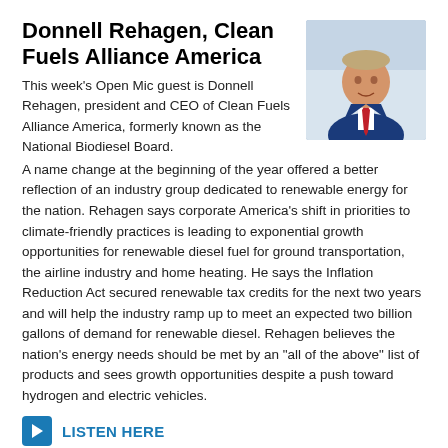Donnell Rehagen, Clean Fuels Alliance America
[Figure (photo): Headshot of Donnell Rehagen in a blue suit with a red striped tie, against a light background]
This week's Open Mic guest is Donnell Rehagen, president and CEO of Clean Fuels Alliance America, formerly known as the National Biodiesel Board. A name change at the beginning of the year offered a better reflection of an industry group dedicated to renewable energy for the nation. Rehagen says corporate America's shift in priorities to climate-friendly practices is leading to exponential growth opportunities for renewable diesel fuel for ground transportation, the airline industry and home heating. He says the Inflation Reduction Act secured renewable tax credits for the next two years and will help the industry ramp up to meet an expected two billion gallons of demand for renewable diesel. Rehagen believes the nation's energy needs should be met by an "all of the above" list of products and sees growth opportunities despite a push toward hydrogen and electric vehicles.
LISTEN HERE
[Figure (photo): Partial headshot of another person, cropped at bottom of page]